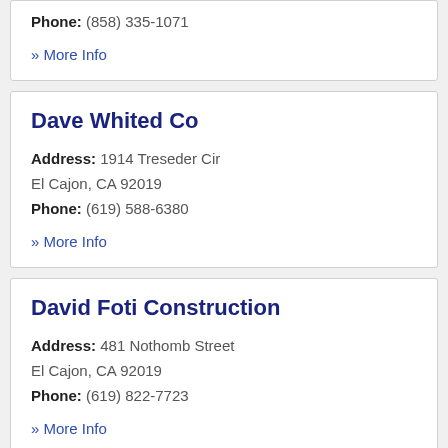Phone: (858) 335-1071
» More Info
Dave Whited Co
Address: 1914 Treseder Cir El Cajon, CA 92019
Phone: (619) 588-6380
» More Info
David Foti Construction
Address: 481 Nothomb Street El Cajon, CA 92019
Phone: (619) 822-7723
» More Info